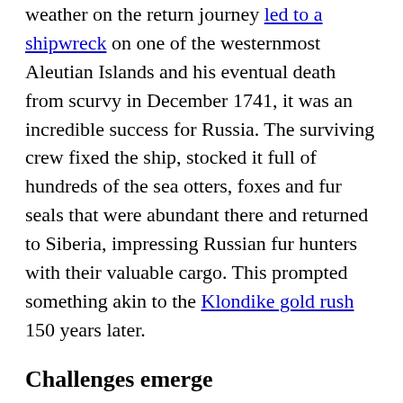weather on the return journey led to a shipwreck on one of the westernmost Aleutian Islands and his eventual death from scurvy in December 1741, it was an incredible success for Russia. The surviving crew fixed the ship, stocked it full of hundreds of the sea otters, foxes and fur seals that were abundant there and returned to Siberia, impressing Russian fur hunters with their valuable cargo. This prompted something akin to the Klondike gold rush 150 years later.
Challenges emerge
But maintaining these settlements wasn't easy. Russians in Alaska – who numbered no more than 800 at their peak – faced the reality of being half a globe away from St. Petersburg, then the capital of the empire, making communications a key